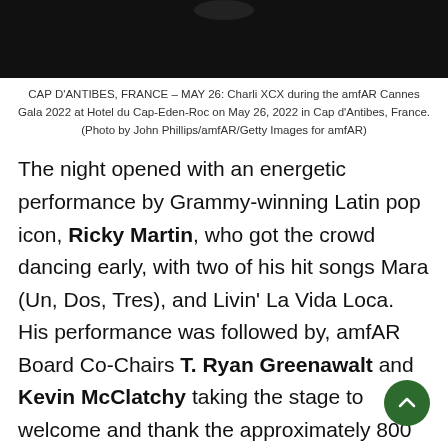[Figure (photo): Dark/black photo area at top of page, partially cropped, showing figures against a dark background]
CAP D'ANTIBES, FRANCE – MAY 26: Charli XCX during the amfAR Cannes Gala 2022 at Hotel du Cap-Eden-Roc on May 26, 2022 in Cap d'Antibes, France. (Photo by John Phillips/amfAR/Getty Images for amfAR)
The night opened with an energetic performance by Grammy-winning Latin pop icon, Ricky Martin, who got the crowd dancing early, with two of his hit songs Mara (Un, Dos, Tres), and Livin' La Vida Loca. His performance was followed by, amfAR Board Co-Chairs T. Ryan Greenawalt and Kevin McClatchy taking the stage to welcome and thank the approximately 800 guests in attendance for their support. amfAR